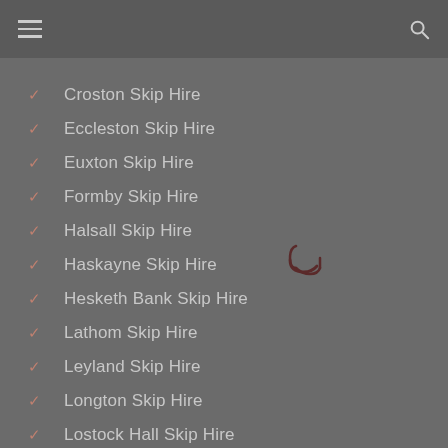Navigation menu with hamburger and search icons
Croston Skip Hire
Eccleston Skip Hire
Euxton Skip Hire
Formby Skip Hire
Halsall Skip Hire
Haskayne Skip Hire
Hesketh Bank Skip Hire
Lathom Skip Hire
Leyland Skip Hire
Longton Skip Hire
Lostock Hall Skip Hire
Lydiate Skip Hire
Maghull Skip Hire
[Figure (other): Loading spinner icon (partial circle arc)]